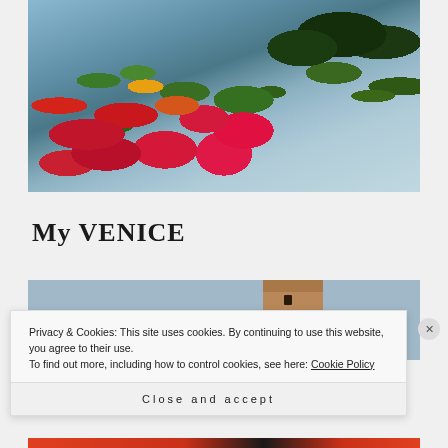[Figure (photo): Photograph of colorful flowers (red, orange, yellow, pink) in the foreground with a Mediterranean coastal view, blue sea, rocky cliffs, and green trees in the background]
My VENICE
[Figure (photo): Partial photograph showing a blue sky and a tall brick tower (campanile), partially obscured by cookie consent banner]
Privacy & Cookies: This site uses cookies. By continuing to use this website, you agree to their use.
To find out more, including how to control cookies, see here: Cookie Policy
Close and accept